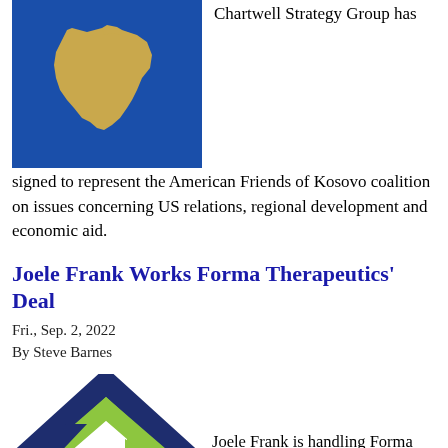[Figure (illustration): Blue rectangle with gold Kosovo country silhouette shape]
Chartwell Strategy Group has signed to represent the American Friends of Kosovo coalition on issues concerning US relations, regional development and economic aid.
Joele Frank Works Forma Therapeutics' Deal
Fri., Sep. 2, 2022
By Steve Barnes
[Figure (logo): Forma Therapeutics logo — dark navy and lime green diamond/arrow shapes forming an F-like mark]
Joele Frank is handling Forma Therapeutics as the Watertown, MA-based biopharmaceutical company focused on sickle cell